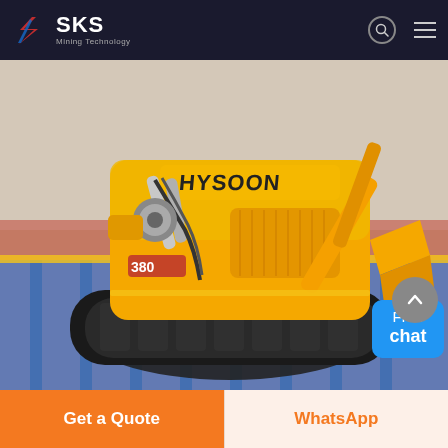SKS Mining Technology
[Figure (photo): Yellow HYSOON tracked mini skid steer loader with front attachment arm, displayed on a colorful floor in a showroom or exhibition hall.]
Used Carpet Cleaning Equipment
Find carpet cleaning equipment for sale in USA and Canada. No
Get a Quote
WhatsApp